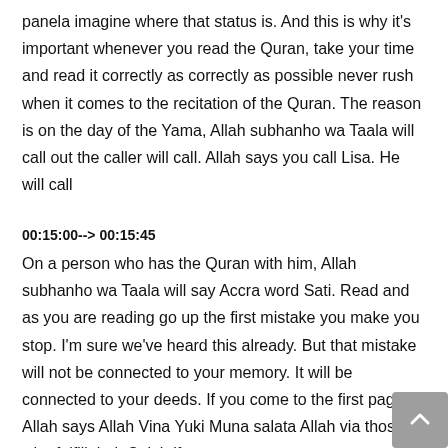panela imagine where that status is. And this is why it's important whenever you read the Quran, take your time and read it correctly as correctly as possible never rush when it comes to the recitation of the Quran. The reason is on the day of the Yama, Allah subhanho wa Taala will call out the caller will call. Allah says you call Lisa. He will call
00:15:00--> 00:15:45
On a person who has the Quran with him, Allah subhanho wa Taala will say Accra word Sati. Read and as you are reading go up the first mistake you make you stop. I'm sure we've heard this already. But that mistake will not be connected to your memory. It will be connected to your deeds. If you come to the first page Allah says Allah Vina Yuki Muna salata Allah via those who fulfill their Salah if